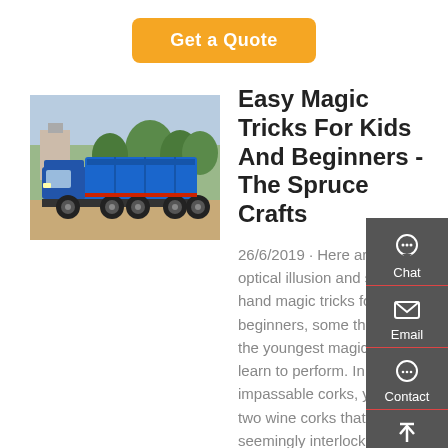Get a Quote
[Figure (photo): Blue dump truck parked on sandy ground with trees in background]
Easy Magic Tricks For Kids And Beginners - The Spruce Crafts
26/6/2019 · Here are 22 easy optical illusion and sleight-of-hand magic tricks for beginners, some that even the youngest magicians can learn to perform. In the impassable corks, you hold two wine corks that are seemingly interlocked, and